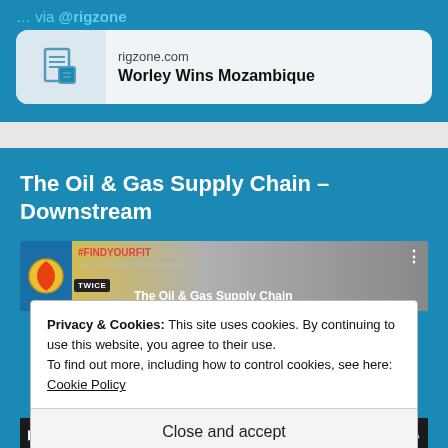… via @rigzone
[Figure (screenshot): Link card showing rigzone.com article 'Worley Wins Mozambique' with a document icon on grey background]
The Oil & Gas Supply Chain – Downstream
[Figure (screenshot): Video thumbnail showing Shell logo, TWICE badge, #FINDYOURFIT hashtag, and title 'The Oil & Gas Supply Chain' with three-dot menu]
Privacy & Cookies: This site uses cookies. By continuing to use this website, you agree to their use.
To find out more, including how to control cookies, see here:
Cookie Policy
Close and accept
00:00   09:39